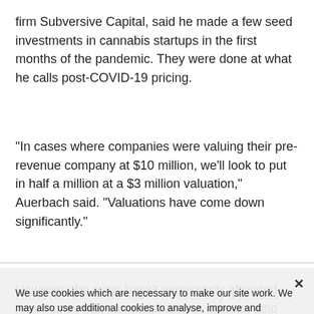Auerbach, who invests in the cannabis industry through his firm Subversive Capital, said he made a few seed investments in cannabis startups in the first months of the pandemic. They were done at what he calls post-COVID-19 pricing.
"In cases where companies were valuing their pre-revenue company at $10 million, we'll look to put in half a million at a $3 million valuation," Auerbach said. "Valuations have come down significantly."
However, the crisis hasn't necessarily attracted new money into cannabis, and an investor who put money in previously is going to have a different take on the company's value now versus before the pandemic.
Nourafchan said that just before the pandemic began, one of his clients was in negotiations for more funding from existing investors who had put money in when the